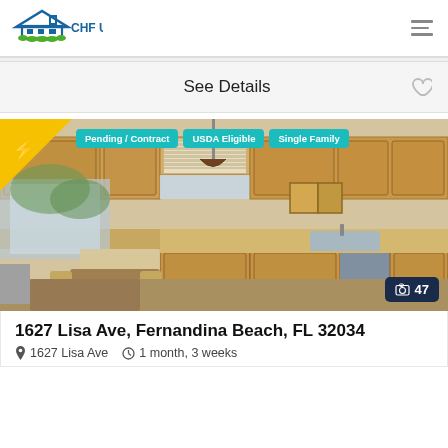[Figure (logo): CHF USDA logo with house icon and text]
See Details
[Figure (photo): Kitchen interior photo showing wood cabinets, dining area, and appliances. Badges: Pending / Contract, USDA Eligible, Single Family. Photo count: 47]
1627 Lisa Ave, Fernandina Beach, FL 32034
1627 Lisa Ave   1 month, 3 weeks